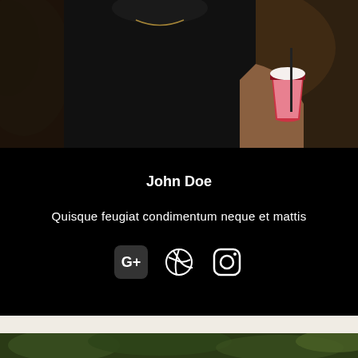[Figure (photo): Person in black t-shirt holding a pink/red drink with straw, photographed from chest down, bokeh background with warm tones]
John Doe
Quisque feugiat condimentum neque et mattis
[Figure (infographic): Three social media icons: Google+, Dribbble, Instagram, displayed in white on black background]
[Figure (photo): Bottom portion showing green foliage/leaves photo]